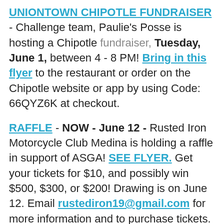UNIONTOWN CHIPOTLE FUNDRAISER - Challenge team, Paulie's Posse is hosting a Chipotle fundraiser, Tuesday, June 1, between 4 - 8 PM! Bring in this flyer to the restaurant or order on the Chipotle website or app by using Code: 66QYZ6K at checkout.
RAFFLE - NOW - June 12 - Rusted Iron Motorcycle Club Medina is holding a raffle in support of ASGA! SEE FLYER. Get your tickets for $10, and possibly win $500, $300, or $200! Drawing is on June 12. Email rustediron19@gmail.com for more information and to purchase tickets. THANK YOU Rusted Iron Motorcycle Club for your support!
5K ON THE RUNWAY - July 10 - Run the runway of Akron-Canton Airport on Saturday, July 10 at either 7:30 or 9:30 AM to benefit ASGA.